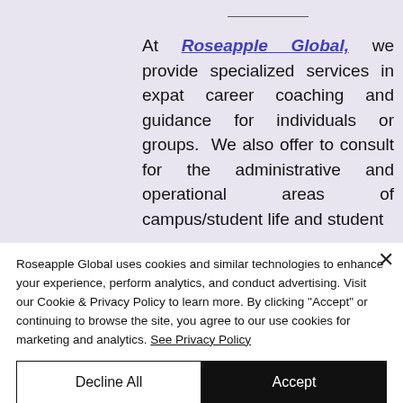At Roseapple Global, we provide specialized services in expat career coaching and guidance for individuals or groups. We also offer to consult for the administrative and operational areas of campus/student life and student
[Figure (logo): Partial view of Roseapple Global logo — teal circular eye/globe icon]
Roseapple Global uses cookies and similar technologies to enhance your experience, perform analytics, and conduct advertising. Visit our Cookie & Privacy Policy to learn more. By clicking "Accept" or continuing to browse the site, you agree to our use cookies for marketing and analytics. See Privacy Policy
Decline All
Accept
Cookie Settings